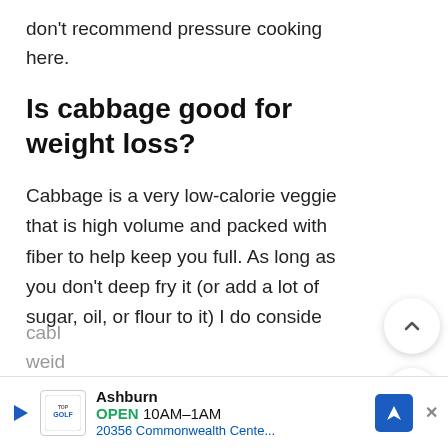don't recommend pressure cooking here.
Is cabbage good for weight loss?
Cabbage is a very low-calorie veggie that is high volume and packed with fiber to help keep you full. As long as you don't deep fry it (or add a lot of sugar, oil, or flour to it) I do consider cabbage... weight...